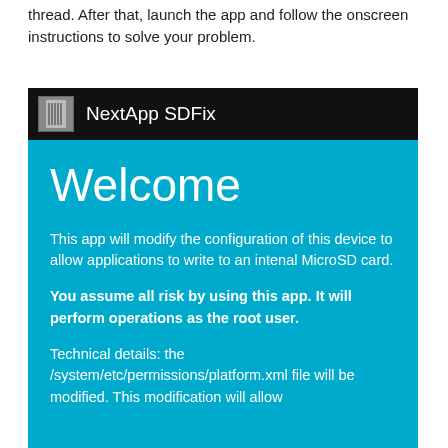thread. After that, launch the app and follow the onscreen instructions to solve your problem.
[Figure (screenshot): Screenshot of NextApp SDFix Android app showing a welcome screen on a cyan/blue background. The title bar is black with the app icon and 'NextApp SDFix' text. The body shows 'Welcome' in large white text, followed by paragraphs explaining the app modifies device configuration to allow SD card writes, a bold risk warning, and technical details about /system/etc/permissions/platform.xml.]